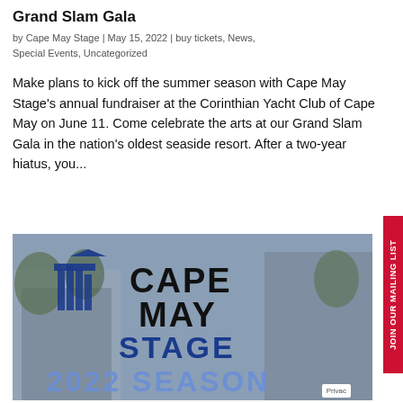Grand Slam Gala
by Cape May Stage | May 15, 2022 | buy tickets, News, Special Events, Uncategorized
Make plans to kick off the summer season with Cape May Stage's annual fundraiser at the Corinthian Yacht Club of Cape May on June 11. Come celebrate the arts at our Grand Slam Gala in the nation's oldest seaside resort. After a two-year hiatus, you...
[Figure (photo): Cape May Stage promotional image showing logo with pillars and text reading 'CAPE MAY STAGE 2022 SEASON' overlaid on a photo of a building]
JOIN OUR MAILING LIST